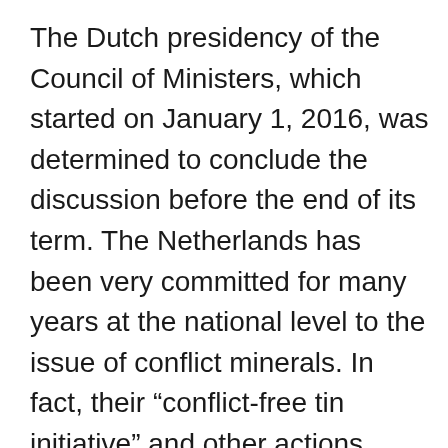The Dutch presidency of the Council of Ministers, which started on January 1, 2016, was determined to conclude the discussion before the end of its term. The Netherlands has been very committed for many years at the national level to the issue of conflict minerals. In fact, their “conflict-free tin initiative” and other actions were promoted and managed at the level of the royal family. But the first meetings with the delegation of the European Parliament were very difficult. NGOs and civil society strongly supported the mandatory character of the European Parliament’s regime, and industry was not keen to lobby